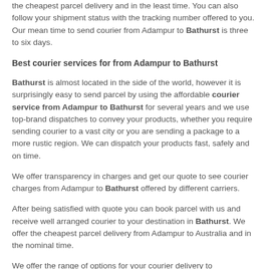the cheapest parcel delivery and in the least time. You can also follow your shipment status with the tracking number offered to you. Our mean time to send courier from Adampur to Bathurst is three to six days.
Best courier services for from Adampur to Bathurst
Bathurst is almost located in the side of the world, however it is surprisingly easy to send parcel by using the affordable courier service from Adampur to Bathurst for several years and we use top-brand dispatches to convey your products, whether you require sending courier to a vast city or you are sending a package to a more rustic region. We can dispatch your products fast, safely and on time.
We offer transparency in charges and get our quote to see courier charges from Adampur to Bathurst offered by different carriers.
After being satisfied with quote you can book parcel with us and receive well arranged courier to your destination in Bathurst. We offer the cheapest parcel delivery from Adampur to Australia and in the nominal time.
We offer the range of options for your courier delivery to